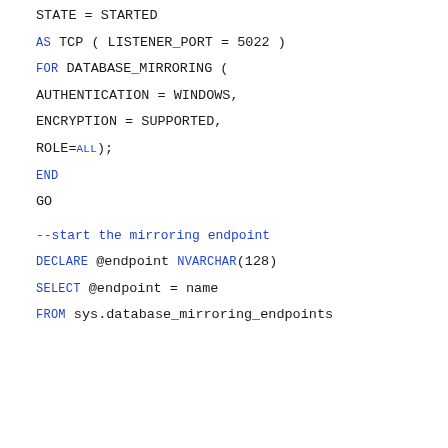STATE = STARTED
AS TCP ( LISTENER_PORT = 5022 )
FOR DATABASE_MIRRORING (
AUTHENTICATION = WINDOWS,
ENCRYPTION = SUPPORTED,
ROLE=ALL);
END
GO
--start the mirroring endpoint
DECLARE @endpoint NVARCHAR(128)
SELECT @endpoint = name
FROM sys.database_mirroring_endpoints